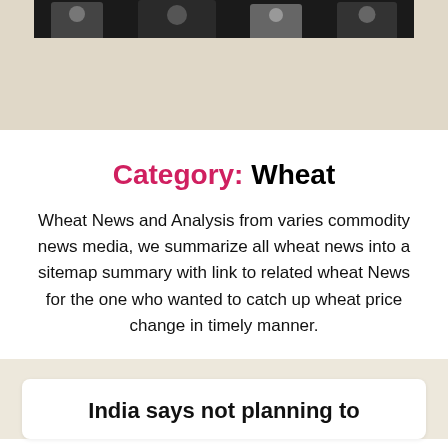[Figure (photo): Partial photo of people, cropped at top of page, dark background with figures visible]
Category: Wheat
Wheat News and Analysis from varies commodity news media, we summarize all wheat news into a sitemap summary with link to related wheat News for the one who wanted to catch up wheat price change in timely manner.
India says not planning to